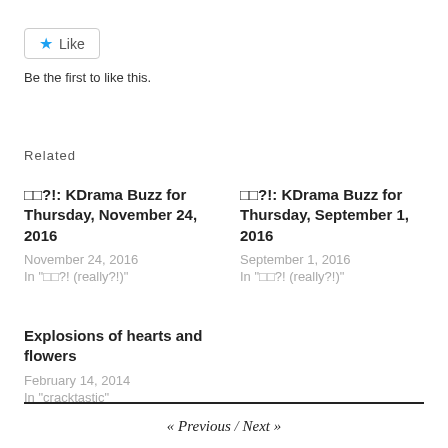[Figure (other): Like button widget with star icon]
Be the first to like this.
Related
□□?!: KDrama Buzz for Thursday, November 24, 2016
November 24, 2016
In "□□?! (really?!)"
□□?!: KDrama Buzz for Thursday, September 1, 2016
September 1, 2016
In "□□?! (really?!)"
Explosions of hearts and flowers
February 14, 2014
In "cracktastic"
« Previous / Next »